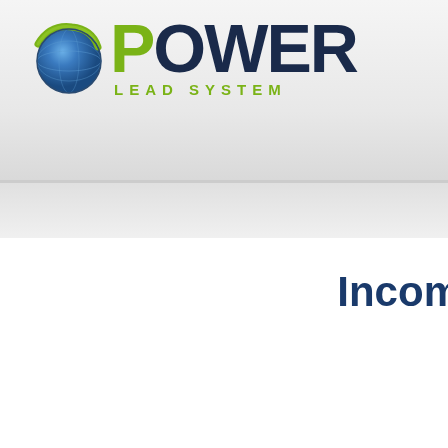[Figure (logo): Power Lead System logo with globe icon and green/dark blue text]
Incom